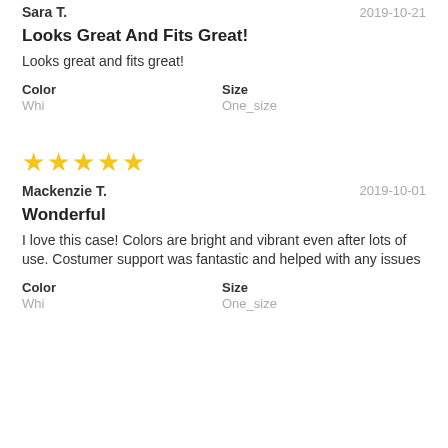Sara T.    2019-10-21
Looks Great And Fits Great!
Looks great and fits great!
Color
Whi
Size
One_size
[Figure (other): 5 yellow stars rating]
Mackenzie T.    2019-10-01
Wonderful
I love this case! Colors are bright and vibrant even after lots of use. Costumer support was fantastic and helped with any issues
Color
Whi
Size
One_size